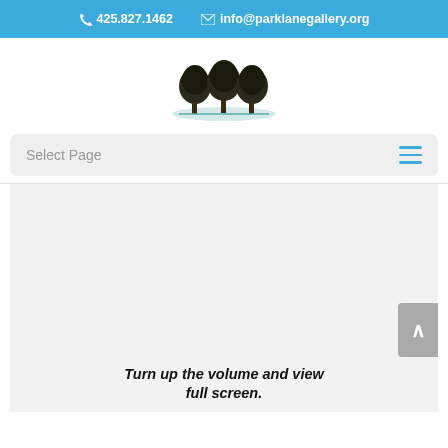425.827.1462   info@parklanegallery.org
[Figure (logo): Park Lane Gallery logo with three trees on a hill]
Select Page
[Figure (other): Large light gray content area placeholder]
Turn up the volume and view full screen.